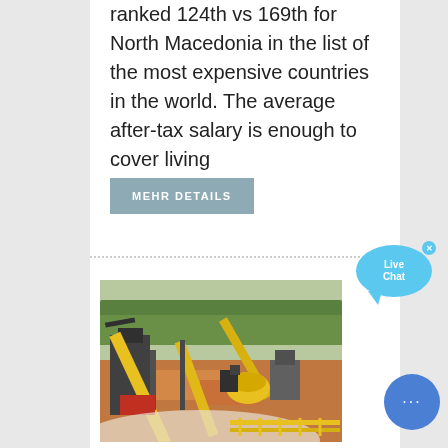ranked 124th vs 169th for North Macedonia in the list of the most expensive countries in the world. The average after-tax salary is enough to cover living
MEHR DETAILS
[Figure (photo): Industrial mining facility with yellow conveyor belts and machinery, earthen terrain with green trees in background]
[Figure (other): Live Chat bubble widget, teal/blue color with 'Live Chat' text]
[Figure (other): Round blue chat button with ellipsis dots]